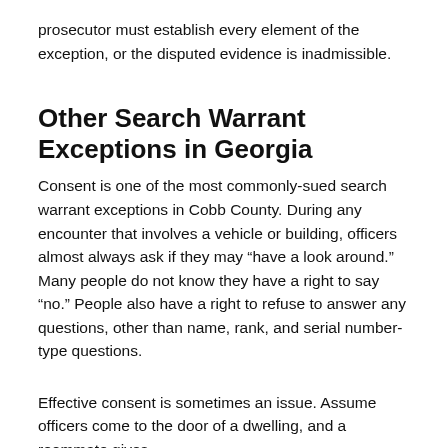prosecutor must establish every element of the exception, or the disputed evidence is inadmissible.
Other Search Warrant Exceptions in Georgia
Consent is one of the most commonly-sued search warrant exceptions in Cobb County. During any encounter that involves a vehicle or building, officers almost always ask if they may “have a look around.”
Many people do not know they have a right to say “no.” People also have a right to refuse to answer any questions, other than name, rank, and serial number-type questions.
Effective consent is sometimes an issue. Assume officers come to the door of a dwelling, and a roommate gives